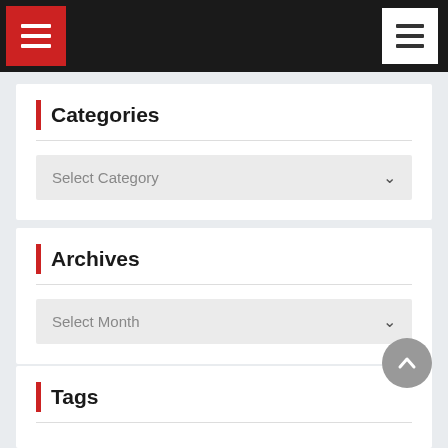Navigation bar with hamburger menus
Categories
Select Category
Archives
Select Month
Tags